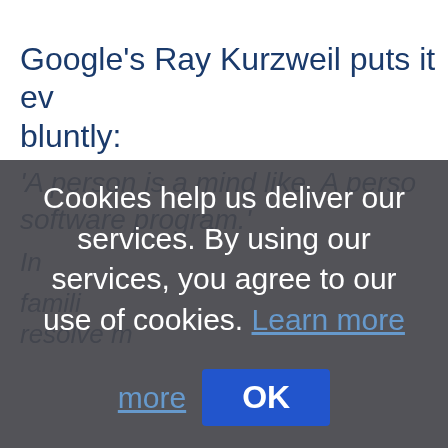Google's Ray Kurzweil puts it even more bluntly:
'A person is a mind file. A person is a software program.'
In other words, the biological hardware that runs our familiar software program may be temporary, but the software – memories, personality, skillsets – can be uploaded and preserved. Not only could AI preserve the minds of the recently deceased and allow families to share memories and experiences with them, but it could also resolve many philosophical questions about the nature of the self.
[Figure (screenshot): Cookie consent overlay dialog with text: 'Cookies help us deliver our services. By using our services, you agree to our use of cookies. Learn more' and an OK button.]